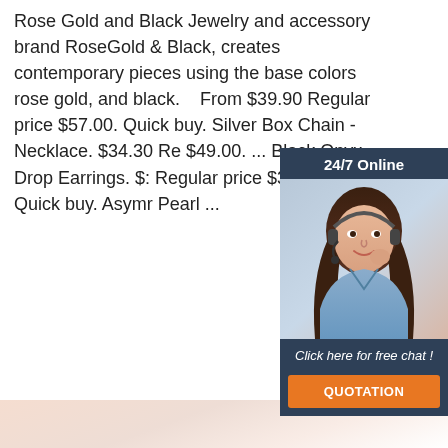Rose Gold and Black Jewelry and accessory brand RoseGold & Black, creates contemporary pieces using the base colors rose gold, and black. ... From $39.90 Regular price $57.00. Quick buy. Silver Box Chain - Necklace. $34.30 Re $49.00. ... Black Onyx Drop Earrings. $: Regular price $35.00. Quick buy. Asymr Pearl ...
[Figure (other): Live chat widget with a woman wearing a headset, dark blue background, '24/7 Online' header, 'Click here for free chat!' text, and orange QUOTATION button.]
Get Price
[Figure (other): Orange dotted arc above the word TOP in orange bold text — a back-to-top button.]